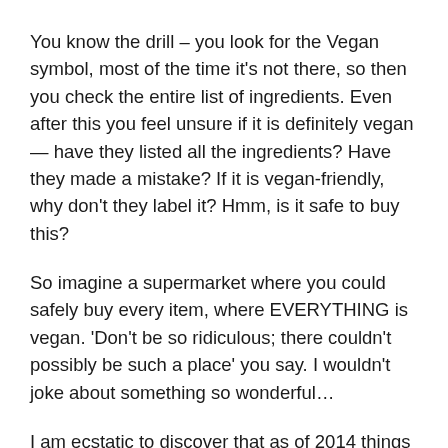You know the drill – you look for the Vegan symbol, most of the time it's not there, so then you check the entire list of ingredients. Even after this you feel unsure if it is definitely vegan — have they listed all the ingredients? Have they made a mistake? If it is vegan-friendly, why don't they label it? Hmm, is it safe to buy this?
So imagine a supermarket where you could safely buy every item, where EVERYTHING is vegan. 'Don't be so ridiculous; there couldn't possibly be such a place' you say. I wouldn't joke about something so wonderful…
I am ecstatic to discover that as of 2014 things are changing for us London vegans. A LARGE FULLY FLEDGED VEGAN SUPERMARKET WILL OPEN IN LONDON! My husband (who is a writer) tells me that